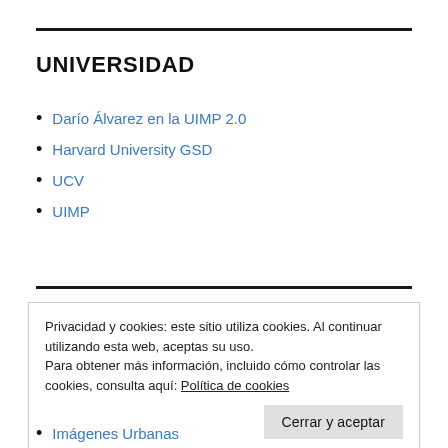UNIVERSIDAD
Darío Álvarez en la UIMP 2.0
Harvard University GSD
UCV
UIMP
Privacidad y cookies: este sitio utiliza cookies. Al continuar utilizando esta web, aceptas su uso.
Para obtener más información, incluido cómo controlar las cookies, consulta aquí: Política de cookies
Cerrar y aceptar
Imágenes Urbanas